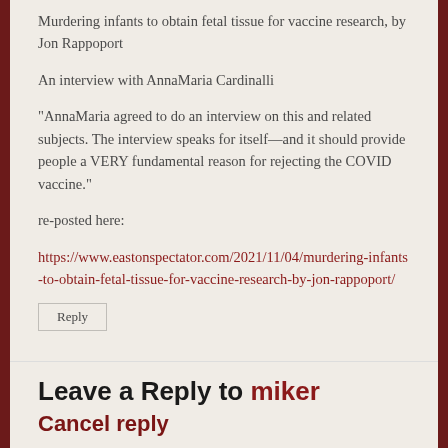Murdering infants to obtain fetal tissue for vaccine research, by Jon Rappoport
An interview with AnnaMaria Cardinalli
“AnnaMaria agreed to do an interview on this and related subjects. The interview speaks for itself—and it should provide people a VERY fundamental reason for rejecting the COVID vaccine.”
re-posted here:
https://www.eastonspectator.com/2021/11/04/murdering-infants-to-obtain-fetal-tissue-for-vaccine-research-by-jon-rappoport/
Reply
Leave a Reply to miker
Cancel reply